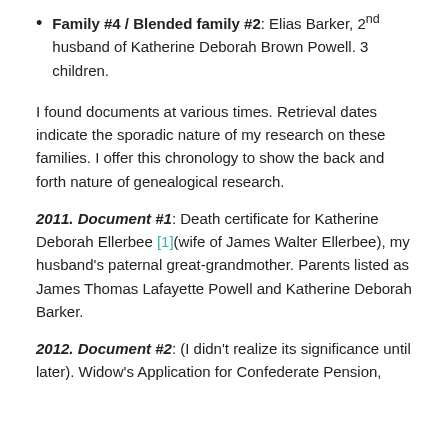Family #4 / Blended family #2: Elias Barker, 2nd husband of Katherine Deborah Brown Powell. 3 children.
I found documents at various times. Retrieval dates indicate the sporadic nature of my research on these families. I offer this chronology to show the back and forth nature of genealogical research.
2011. Document #1: Death certificate for Katherine Deborah Ellerbee [1](wife of James Walter Ellerbee), my husband's paternal great-grandmother. Parents listed as James Thomas Lafayette Powell and Katherine Deborah Barker.
2012. Document #2: (I didn't realize its significance until later). Widow's Application for Confederate Pension,